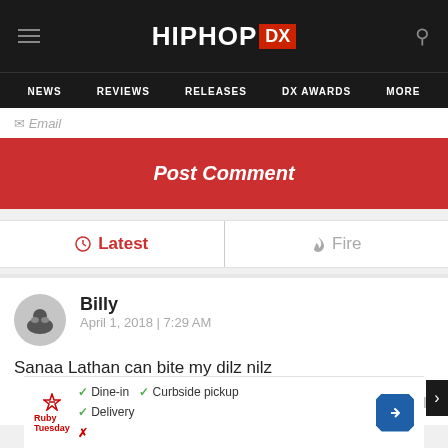HIPHOP DX — NEWS | REVIEWS | RELEASES | DX AWARDS | MORE
Email
Post Comment
Latest | Fire
Billy
April 1, 2018 | 7:29 AM
Sanaa Lathan can bite my dilz nilz
🔥 4   Reply
[Figure (screenshot): Ruby Tuesday advertisement with dine-in, curbside pickup, and delivery options with directional arrow icon]